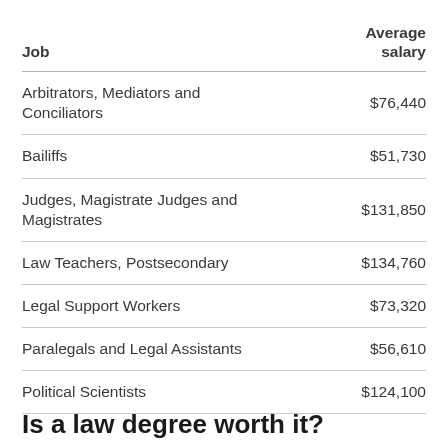| Job | Average salary |
| --- | --- |
| Arbitrators, Mediators and Conciliators | $76,440 |
| Bailiffs | $51,730 |
| Judges, Magistrate Judges and Magistrates | $131,850 |
| Law Teachers, Postsecondary | $134,760 |
| Legal Support Workers | $73,320 |
| Paralegals and Legal Assistants | $56,610 |
| Political Scientists | $124,100 |
Is a law degree worth it?